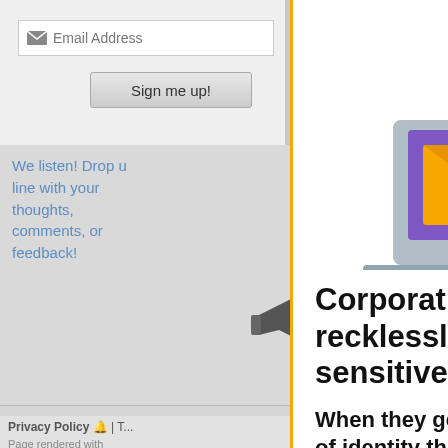Email Address
Sign me up!
We listen! Drop us a line with your thoughts, comments, or feedback!
Support This
Desktop Nexus
Home
About Us
Popular Wallpapers
Popular Tags
Community Stats
Member List
Contact Us
Privacy Policy | T...
Page rendered with
[Figure (illustration): Illustration showing a hacker figure pulling sensitive data from a laptop with a magnet, with an envelope containing a warning triangle in the foreground]
Corporations are recklessly hoarding your sensitive data!
When they get hacked, you’re at risk of identity theft or worse!
Check if you've been compromised:
Email Address
FREE SCAN